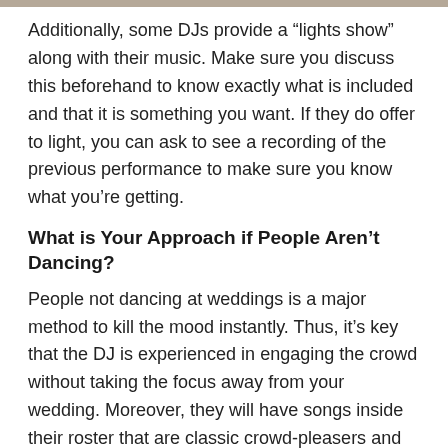Additionally, some DJs provide a “lights show” along with their music. Make sure you discuss this beforehand to know exactly what is included and that it is something you want. If they do offer to light, you can ask to see a recording of the previous performance to make sure you know what you’re getting.
What is Your Approach if People Aren’t Dancing?
People not dancing at weddings is a major method to kill the mood instantly. Thus, it’s key that the DJ is experienced in engaging the crowd without taking the focus away from your wedding. Moreover, they will have songs inside their roster that are classic crowd-pleasers and manage to read the space well enough to select tunes that may get your guests moving.
Can We Help Design the Playlist?